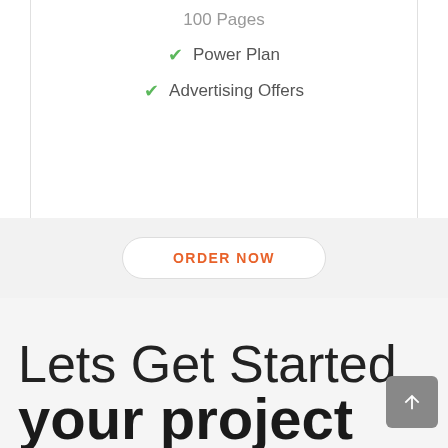100 Pages
✔ Power Plan
✔ Advertising Offers
ORDER NOW
Lets Get Started your project